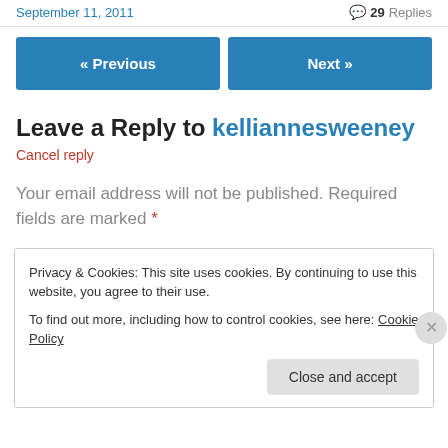September 11, 2011   💬 29 Replies
« Previous   Next »
Leave a Reply to kelliannesweeney
Cancel reply
Your email address will not be published. Required fields are marked *
Privacy & Cookies: This site uses cookies. By continuing to use this website, you agree to their use.
To find out more, including how to control cookies, see here: Cookie Policy
Close and accept